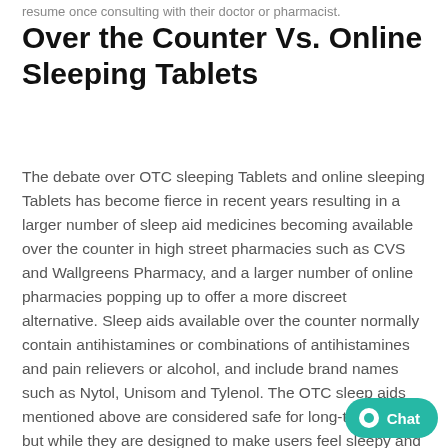resume once consulting with their doctor or pharmacist.
Over the Counter Vs. Online Sleeping Tablets
The debate over OTC sleeping Tablets and online sleeping Tablets has become fierce in recent years resulting in a larger number of sleep aid medicines becoming available over the counter in high street pharmacies such as CVS and Wallgreens Pharmacy, and a larger number of online pharmacies popping up to offer a more discreet alternative. Sleep aids available over the counter normally contain antihistamines or combinations of antihistamines and pain relievers or alcohol, and include brand names such as Nytol, Unisom and Tylenol. The OTC sleep aids mentioned above are considered safe for long-term use, but while they are designed to make users feel sleepy and fall asleep, they are known to be less effective at helping users stay asleep. When a patient is suffering from chronic sleeplessness, or experiencing a lack of sleep due to frequent awakening during the night, they are in greater need of a reliable sleep aid that